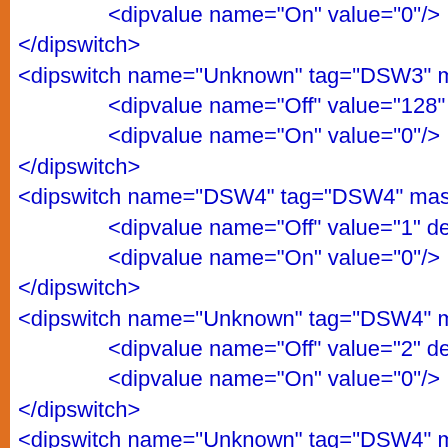<dipvalue name="On" value="0"/>
</dipswitch>
<dipswitch name="Unknown" tag="DSW3" ma
<dipvalue name="Off" value="128" defa
<dipvalue name="On" value="0"/>
</dipswitch>
<dipswitch name="DSW4" tag="DSW4" mask=
<dipvalue name="Off" value="1" default=
<dipvalue name="On" value="0"/>
</dipswitch>
<dipswitch name="Unknown" tag="DSW4" ma
<dipvalue name="Off" value="2" default=
<dipvalue name="On" value="0"/>
</dipswitch>
<dipswitch name="Unknown" tag="DSW4" ma
<dipvalue name="Off" value="4" default=
<dipvalue name="On" value="0"/>
</dipswitch>